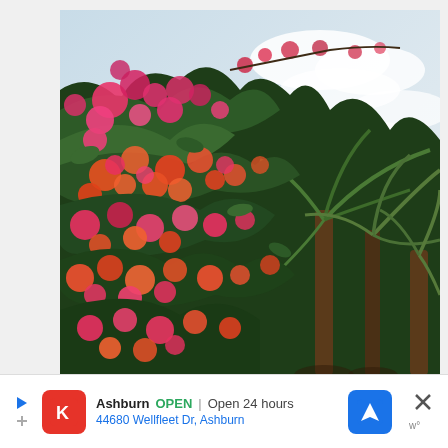[Figure (photo): Outdoor photo of vibrant bougainvillea flowers in pink, red, and orange colors covering lush green foliage on the left, with tropical palm trees on the right side against a partly cloudy blue-white sky.]
Ashburn OPEN | Open 24 hours  44680 Wellfleet Dr, Ashburn